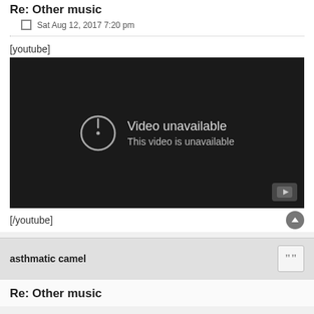Re: Other music
Sat Aug 12, 2017 7:20 pm
[youtube]
[Figure (screenshot): Embedded YouTube player showing 'Video unavailable - This video is unavailable' error message on dark background, with a YouTube play button logo in the bottom right corner.]
[/youtube]
asthmatic camel
Re: Other music